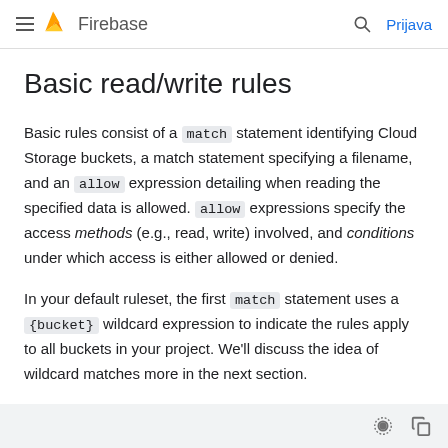Firebase — Prijava
Basic read/write rules
Basic rules consist of a match statement identifying Cloud Storage buckets, a match statement specifying a filename, and an allow expression detailing when reading the specified data is allowed. allow expressions specify the access methods (e.g., read, write) involved, and conditions under which access is either allowed or denied.
In your default ruleset, the first match statement uses a {bucket} wildcard expression to indicate the rules apply to all buckets in your project. We'll discuss the idea of wildcard matches more in the next section.